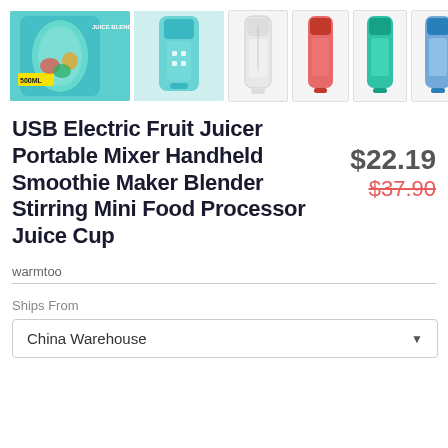[Figure (photo): Product image gallery showing USB Electric Fruit Juicer blender in multiple colors and angles: teal/green with 500ML badge, light teal front view, white variant, red variant, dark teal variant, light blue variant, and navy/gold packaging box]
USB Electric Fruit Juicer Portable Mixer Handheld Smoothie Maker Blender Stirring Mini Food Processor Juice Cup
$22.19
$37.90
warmtoo
Ships From
China Warehouse